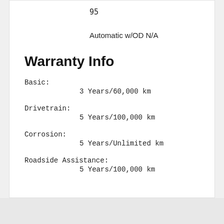95
Automatic w/OD N/A
Warranty Info
Basic:
          3 Years/60,000 km
Drivetrain:
          5 Years/100,000 km
Corrosion:
          5 Years/Unlimited km
Roadside Assistance:
          5 Years/100,000 km